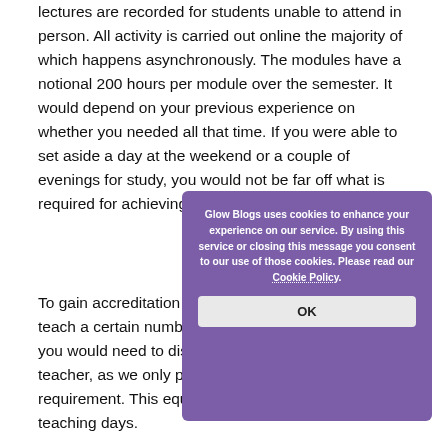lectures are recorded for students unable to attend in person. All activity is carried out online the majority of which happens asynchronously. The modules have a notional 200 hours per module over the semester. It would depend on your previous experience on whether you needed all that time. If you were able to set aside a day at the weekend or a couple of evenings for study, you would not be far off what is required for achieving the award.
To gain accreditation for this course, you need to teach a certain number of hours of Computing, and you would need to discuss that with your local head teacher, as we only provide the academic requirement. This equates to 500hrs teaching or 100 teaching days.
[Figure (other): Cookie consent dialog from Glow Blogs with purple background. Text: 'Glow Blogs uses cookies to enhance your experience on our service. By using this service or closing this message you consent to our use of those cookies. Please read our Cookie Policy.' with an OK button.]